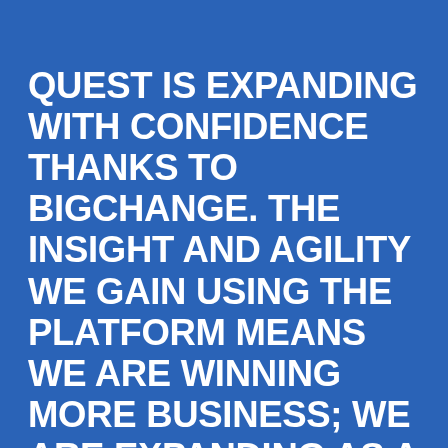QUEST IS EXPANDING WITH CONFIDENCE THANKS TO BIGCHANGE. THE INSIGHT AND AGILITY WE GAIN USING THE PLATFORM MEANS WE ARE WINNING MORE BUSINESS; WE ARE EXPANDING AS A RESULT AND WE ARE ABLE TO OFFER A LEVEL OF CUSTOMER SERVICE THAT IS UNRIVALLED IN OUR INDUSTRY.